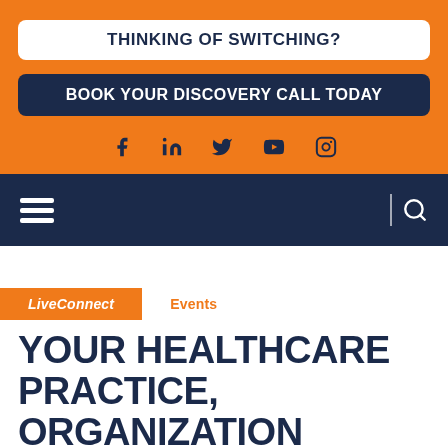THINKING OF SWITCHING?
BOOK YOUR DISCOVERY CALL TODAY
[Figure (other): Social media icons: Facebook, LinkedIn, Twitter, YouTube, Instagram]
[Figure (other): Navigation bar with hamburger menu icon on left and search icon on right]
LiveConnect
Events
YOUR HEALTHCARE PRACTICE, ORGANIZATION